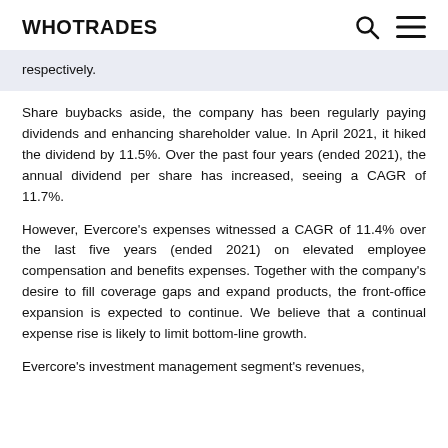WHOTRADES
respectively.
Share buybacks aside, the company has been regularly paying dividends and enhancing shareholder value. In April 2021, it hiked the dividend by 11.5%. Over the past four years (ended 2021), the annual dividend per share has increased, seeing a CAGR of 11.7%.
However, Evercore's expenses witnessed a CAGR of 11.4% over the last five years (ended 2021) on elevated employee compensation and benefits expenses. Together with the company's desire to fill coverage gaps and expand products, the front-office expansion is expected to continue. We believe that a continual expense rise is likely to limit bottom-line growth.
Evercore's investment management segment's revenues,